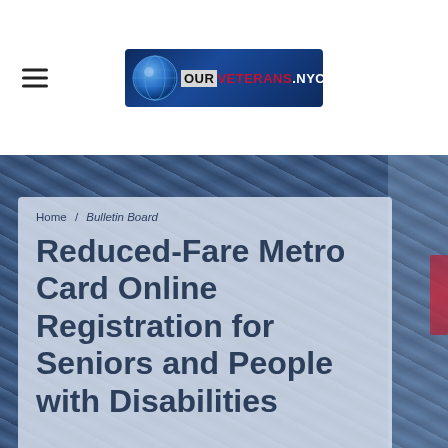[Figure (logo): OurVeterans.NYC logo with globe icon, blue background, red and white text]
[Figure (photo): Background photo of blue fabric/jackets, partially obscured]
Home / Bulletin Board
Reduced-Fare Metro Card Online Registration for Seniors and People with Disabilities